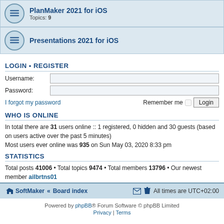PlanMaker 2021 for iOS — Topics: 9
Presentations 2021 for iOS
LOGIN • REGISTER
Username:
Password:
I forgot my password    Remember me   Login
WHO IS ONLINE
In total there are 31 users online :: 1 registered, 0 hidden and 30 guests (based on users active over the past 5 minutes)
Most users ever online was 935 on Sun May 03, 2020 8:33 pm
STATISTICS
Total posts 41006 • Total topics 9474 • Total members 13796 • Our newest member ailbrtns01
SoftMaker • Board index    All times are UTC+02:00
Powered by phpBB® Forum Software © phpBB Limited
Privacy | Terms